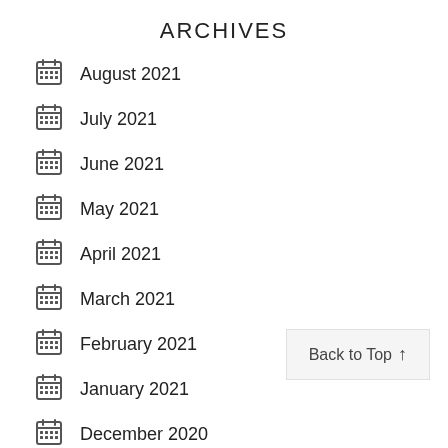ARCHIVES
August 2021
July 2021
June 2021
May 2021
April 2021
March 2021
February 2021
January 2021
December 2020
November 2020
October 2020
Back to Top ↑